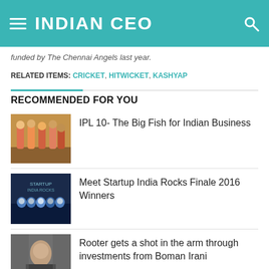INDIAN CEO
funded by The Chennai Angels last year.
RELATED ITEMS: CRICKET, HITWICKET, KASHYAP
RECOMMENDED FOR YOU
[Figure (photo): IPL cricket players group photo]
IPL 10- The Big Fish for Indian Business
[Figure (photo): Startup India Rocks Finale 2016 group photo]
Meet Startup India Rocks Finale 2016 Winners
[Figure (photo): Boman Irani photo]
Rooter gets a shot in the arm through investments from Boman Irani